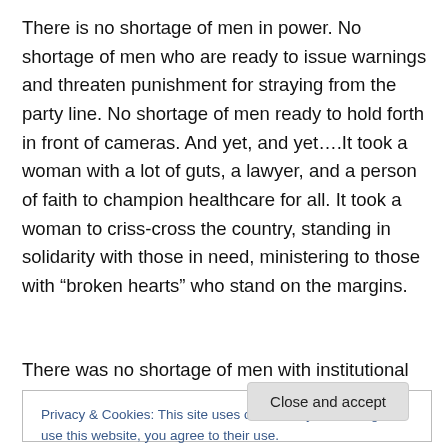There is no shortage of men in power. No shortage of men who are ready to issue warnings and threaten punishment for straying from the party line. No shortage of men ready to hold forth in front of cameras. And yet, and yet….It took a woman with a lot of guts, a lawyer, and a person of faith to champion healthcare for all. It took a woman to criss-cross the country, standing in solidarity with those in need, ministering to those with “broken hearts” who stand on the margins.
There was no shortage of men with institutional power and
Privacy & Cookies: This site uses cookies. By continuing to use this website, you agree to their use.
To find out more, including how to control cookies, see here: Cookie Policy